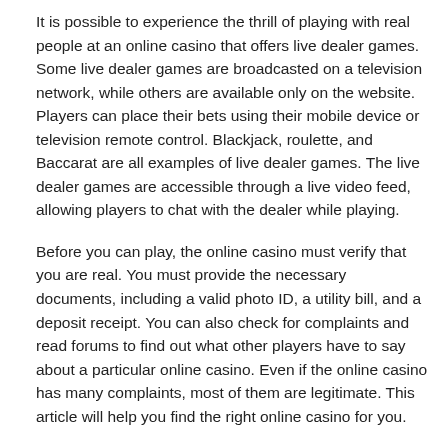It is possible to experience the thrill of playing with real people at an online casino that offers live dealer games. Some live dealer games are broadcasted on a television network, while others are available only on the website. Players can place their bets using their mobile device or television remote control. Blackjack, roulette, and Baccarat are all examples of live dealer games. The live dealer games are accessible through a live video feed, allowing players to chat with the dealer while playing.
Before you can play, the online casino must verify that you are real. You must provide the necessary documents, including a valid photo ID, a utility bill, and a deposit receipt. You can also check for complaints and read forums to find out what other players have to say about a particular online casino. Even if the online casino has many complaints, most of them are legitimate. This article will help you find the right online casino for you.